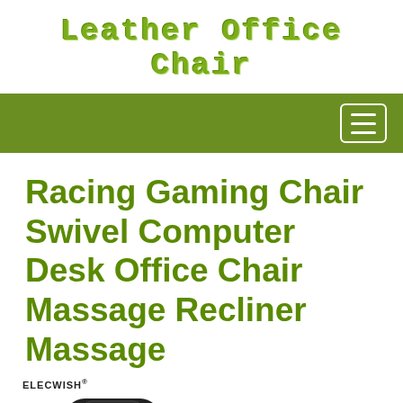Leather Office Chair
Racing Gaming Chair Swivel Computer Desk Office Chair Massage Recliner Massage
[Figure (photo): Product photo of a black gaming/racing chair (Elecwish brand) with a close-up of a massage function element showing blue concentric circles, and a partial view of the chair base at the bottom.]